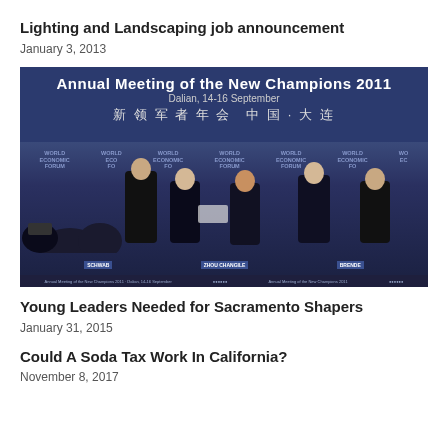Lighting and Landscaping job announcement
January 3, 2013
[Figure (photo): Photo from the Annual Meeting of the New Champions 2011 in Dalian, 14-16 September. Banner in Chinese reads 新领军者年会 中国·大连. Several men in suits shaking hands on stage in front of World Economic Forum branded backdrop. Nameplates visible for SCHWAB, ZHOU CHANGILE, BRENDE.]
Young Leaders Needed for Sacramento Shapers
January 31, 2015
Could A Soda Tax Work In California?
November 8, 2017